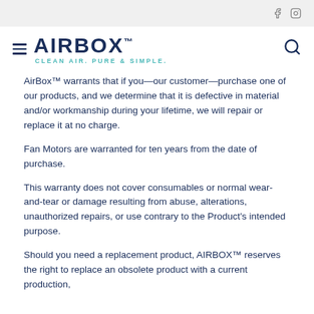[Figure (logo): AirBox logo with hamburger menu icon on left and search icon on right. Logo text reads AIRBOX with tagline CLEAN AIR. PURE & SIMPLE.]
AirBox™ warrants that if you—our customer—purchase one of our products, and we determine that it is defective in material and/or workmanship during your lifetime, we will repair or replace it at no charge.
Fan Motors are warranted for ten years from the date of purchase.
This warranty does not cover consumables or normal wear-and-tear or damage resulting from abuse, alterations, unauthorized repairs, or use contrary to the Product's intended purpose.
Should you need a replacement product, AIRBOX™ reserves the right to replace an obsolete product with a current production,